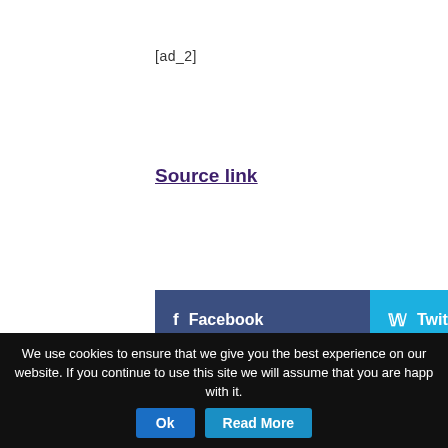[ad_2]
Source link
[Figure (other): Social sharing buttons: Facebook (dark blue), Twitter (light blue), Google Plus (red-orange), Pinterest (dark red), LinkedIn (teal)]
< New manager leads OSJCT care home turnaround
We use cookies to ensure that we give you the best experience on our website. If you continue to use this site we will assume that you are happy with it.
Ok
Read More